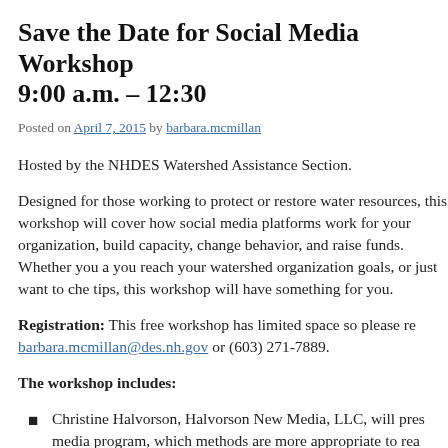Save the Date for Social Media Workshop 9:00 a.m. – 12:30
Posted on April 7, 2015 by barbara.mcmillan
Hosted by the NHDES Watershed Assistance Section.
Designed for those working to protect or restore water resources, this workshop will cover how social media platforms work for your organization, build capacity, change behavior, and raise funds. Whether you are new to social media and want help reaching your watershed organization goals, or just want to check off on some tips, this workshop will have something for you.
Registration: This free workshop has limited space so please register by emailing barbara.mcmillan@des.nh.gov or (603) 271-7889.
The workshop includes:
Christine Halvorson, Halvorson New Media, LLC, will present a social media program, which methods are more appropriate to reach...